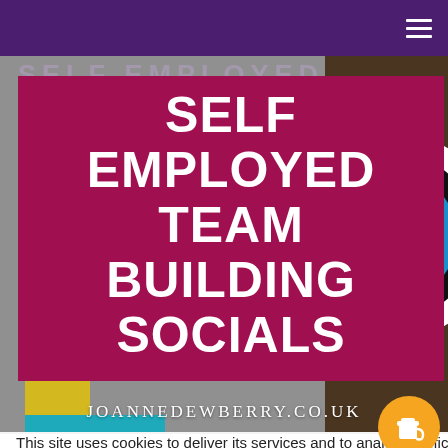[Figure (screenshot): Website screenshot of joannedewberry.co.uk showing a hero banner with purple navigation bar, crimson title box reading 'SELF EMPLOYED TEAM BUILDING SOCIALS', archery target photo background, URL text 'JOANNEDEWBERRY.CO.UK', a cookie consent banner, and a 'Thank you for visiting. You can now buy me a coffee!' notification with orange coffee cup button.]
SELF EMPLOYED TEAM BUILDING SOCIALS
JOANNEDEWBERRY.CO.UK
This site uses cookies to deliver its services and to analyse traffic. By using this site, you agree to its use of cookies. Learn more
Thank you for visiting. You can now buy me a coffee!